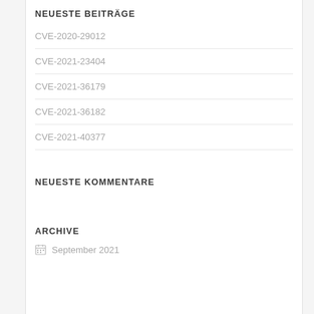NEUESTE BEITRÄGE
CVE-2020-29012
CVE-2021-23404
CVE-2021-36179
CVE-2021-36182
CVE-2021-40377
NEUESTE KOMMENTARE
ARCHIVE
September 2021